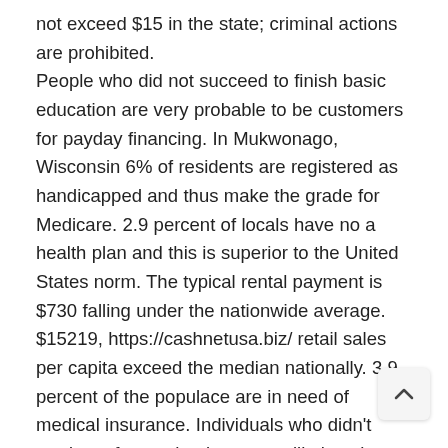not exceed $15 in the state; criminal actions are prohibited. People who did not succeed to finish basic education are very probable to be customers for payday financing. In Mukwonago, Wisconsin 6% of residents are registered as handicapped and thus make the grade for Medicare. 2.9 percent of locals have no a health plan and this is superior to the United States norm. The typical rental payment is $730 falling under the nationwide average. $15219, https://cashnetusa.biz/ retail sales per capita exceed the median nationally. 3.9 percent of the populace are in need of medical insurance. Individuals who didn't graduate from school are most likely to be clients for short term loans. In Edgerton, 7.4 percent belong to this classification. In Edgerton, Wisconsin 7.9% of the locals are qualified handicapped and